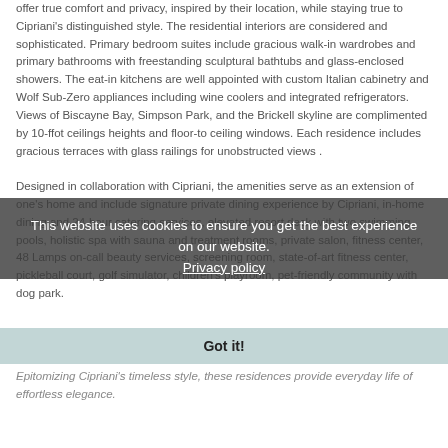offer true comfort and privacy, inspired by their location, while staying true to Cipriani's distinguished style. The residential interiors are considered and sophisticated. Primary bedroom suites include gracious walk-in wardrobes and primary bathrooms with freestanding sculptural bathtubs and glass-enclosed showers. The eat-in kitchens are well appointed with custom Italian cabinetry and Wolf Sub-Zero appliances including wine coolers and integrated refrigerators. Views of Biscayne Bay, Simpson Park, and the Brickell skyline are complimented by 10-ffot ceilings heights and floor-to ceiling windows. Each residence includes gracious terraces with glass railings for unobstructed views .
Designed in collaboration with Cipriani, the amenities serve as an extension of one's home and include signature private dining experience by Cipriani, in-home dining and 24-hour catering services, elevated resort deck with two swimming pools, holistic spa with sauna and treatment rooms, private salon, fitness center, 48 Lamps on-call beauty services, screening room, state-of-art fitness center, pickleball court, golf simulator, children's playroom, pet-friendly community with dog park.
This website uses cookies to ensure you get the best experience on our website.
Privacy policy
Got it!
Epitomizing Cipriani's timeless style, these residences provide everyday life of effortless elegance.